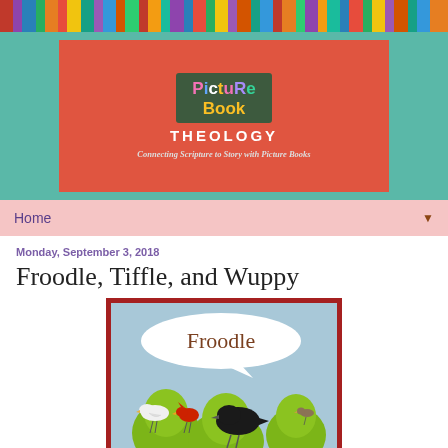[Figure (photo): Colorful bookshelf bar at the top of the page]
[Figure (photo): Picture Book Theology blog header with chalkboard sign on red background with teal border. Text reads: Picture Book THEOLOGY - Connecting Scripture to Story with Picture Books]
Home
Monday, September 3, 2018
Froodle, Tiffle, and Wuppy
[Figure (photo): Cover of the picture book 'Froodle' showing a speech bubble with the word 'Froodle' and several birds (white dove, red cardinal, black crow) perched on green round bushes/trees]